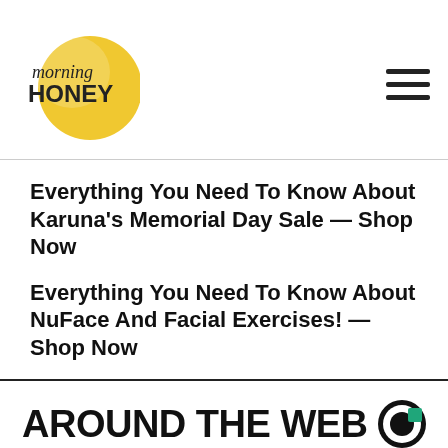morning HONEY
Everything You Need To Know About Karuna's Memorial Day Sale — Shop Now
Everything You Need To Know About NuFace And Facial Exercises! — Shop Now
AROUND THE WEB
[Figure (photo): Woman sitting in front of a slot machine arcade game]